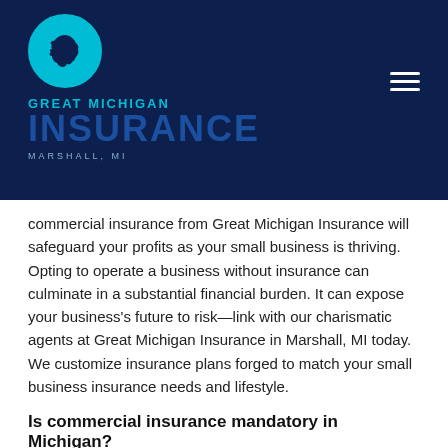[Figure (logo): Great Michigan Insurance logo: circular cyan icon with Michigan state silhouette, text 'GREAT MICHIGAN' in cyan, 'INSURANCE' in dark blue large text, 'MARSHALL, MI' in light blue small caps, on dark navy background. Hamburger menu icon top right.]
commercial insurance from Great Michigan Insurance will safeguard your profits as your small business is thriving. Opting to operate a business without insurance can culminate in a substantial financial burden. It can expose your business's future to risk—link with our charismatic agents at Great Michigan Insurance in Marshall, MI today. We customize insurance plans forged to match your small business insurance needs and lifestyle.
Is commercial insurance mandatory in Michigan?
Commercial insurance mandatory in Michigan...